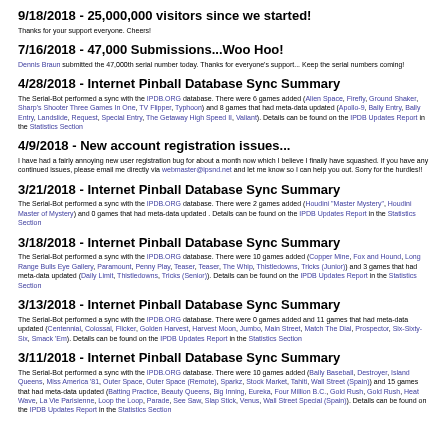9/18/2018 - 25,000,000 visitors since we started!
Thanks for your support everyone. Cheers!
7/16/2018 - 47,000 Submissions...Woo Hoo!
Dennis Braun submitted the 47,000th serial number today. Thanks for everyone's support... Keep the serial numbers coming!
4/28/2018 - Internet Pinball Database Sync Summary
The Serial-Bot performed a sync with the IPDB.ORG database. There were 6 games added (Alien Space, Firefly, Ground Shaker, Sharp's Shooter Three Games In One, TV Flipper, Typhoon) and 8 games that had meta-data updated (Apollo-9, Bally Entry, Bally Entry, Landslide, Request, Special Entry, The Getaway High Speed II, Valiant). Details can be found on the IPDB Updates Report in the Statistics Section
4/9/2018 - New account registration issues...
I have had a fairly annoying new user registration bug for about a month now which I believe I finally have squashed. If you have any continued issues, please email me directly via webmaster@ipsnd.net and let me know so I can help you out. Sorry for the hurdles!!
3/21/2018 - Internet Pinball Database Sync Summary
The Serial-Bot performed a sync with the IPDB.ORG database. There were 2 games added (Houdini "Master Mystery", Houdini Master of Mystery) and 0 games that had meta-data updated . Details can be found on the IPDB Updates Report in the Statistics Section
3/18/2018 - Internet Pinball Database Sync Summary
The Serial-Bot performed a sync with the IPDB.ORG database. There were 10 games added (Copper Mine, Fox and Hound, Long Range Bulls Eye Gallery, Paramount, Penny Play, Teaser, Teaser, The Whip, Thistledowns, Tricks (Junior)) and 3 games that had meta-data updated (Daily Limit, Thistledowns, Tricks (Senior)). Details can be found on the IPDB Updates Report in the Statistics Section
3/13/2018 - Internet Pinball Database Sync Summary
The Serial-Bot performed a sync with the IPDB.ORG database. There were 0 games added and 11 games that had meta-data updated (Centennial, Colossal, Flicker, Golden Harvest, Harvest Moon, Jumbo, Main Street, Match The Dial, Prospector, Six-Sixty-Six, Smack 'Em). Details can be found on the IPDB Updates Report in the Statistics Section
3/11/2018 - Internet Pinball Database Sync Summary
The Serial-Bot performed a sync with the IPDB.ORG database. There were 10 games added (Bally Baseball, Destroyer, Island Queens, Miss America '81, Outer Space, Outer Space (Remote), Sparkz, Stock Market, Tahiti, Wall Street (Spain)) and 15 games that had meta-data updated (Batting Practice, Beauty Queens, Big Inning, Eureka, Four Million B.C., Gold Rush, Gold Rush, Heat Wave, La Vie Parisienne, Loop the Loop, Parade, See Saw, Slap Stick, Venus, Wall Street Special (Spain)). Details can be found on the IPDB Updates Report in the Statistics Section